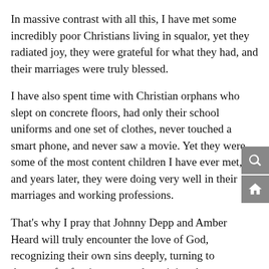In massive contrast with all this, I have met some incredibly poor Christians living in squalor, yet they radiated joy, they were grateful for what they had, and their marriages were truly blessed.
I have also spent time with Christian orphans who slept on concrete floors, had only their school uniforms and one set of clothes, never touched a smart phone, and never saw a movie. Yet they were some of the most content children I have ever met, and years later, they were doing very well in their marriages and working professions.
That's why I pray that Johnny Depp and Amber Heard will truly encounter the love of God, recognizing their own sins deeply, turning to the cross for forgiveness, and receiving the Father's grace through Jesus. How wonderful that would be!